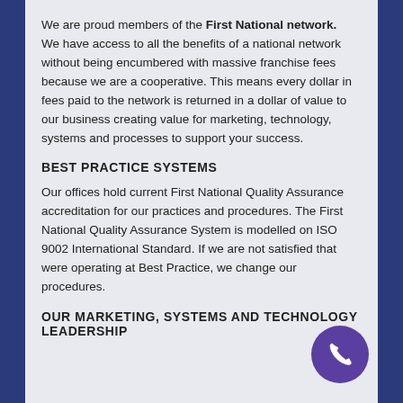We are proud members of the First National network. We have access to all the benefits of a national network without being encumbered with massive franchise fees because we are a cooperative. This means every dollar in fees paid to the network is returned in a dollar of value to our business creating value for marketing, technology, systems and processes to support your success.
BEST PRACTICE SYSTEMS
Our offices hold current First National Quality Assurance accreditation for our practices and procedures. The First National Quality Assurance System is modelled on ISO 9002 International Standard. If we are not satisfied that were operating at Best Practice, we change our procedures.
OUR MARKETING, SYSTEMS AND TECHNOLOGY LEADERSHIP
[Figure (illustration): Purple circular phone icon in the bottom-right corner of the page]